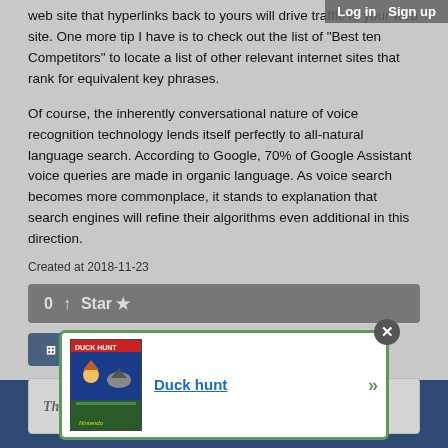web site that hyperlinks back to yours will drive traffic to your web site. One more tip I have is to check out the list of "Best ten Competitors" to locate a list of other relevant internet sites that rank for equivalent key phrases.
Of course, the inherently conversational nature of voice recognition technology lends itself perfectly to all-natural language search. According to Google, 70% of Google Assistant voice queries are made in organic language. As voice search becomes more commonplace, it stands to explanation that search engines will refine their algorithms even additional in this direction.
Created at 2018-11-23
0 ↑  Star ★
Back to posts
This post has no comments - be the first one!
UNDER MAINTENANCE
[Figure (screenshot): Duck Hunt game promotional box art image]
Duck hunt